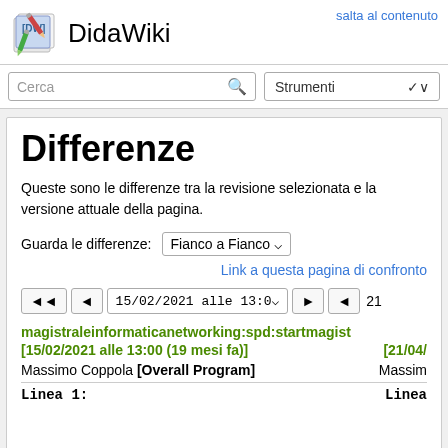[Figure (logo): DidaWiki logo with pencil/paper icon and DW text]
DidaWiki
salta al contenuto
Cerca
Strumenti
Differenze
Queste sono le differenze tra la revisione selezionata e la versione attuale della pagina.
Guarda le differenze: Fianco a Fianco ▾
Link a questa pagina di confronto
◄◄  ◄  15/02/2021 alle 13:0▾  ►  ◄  21
magistraleinformaticanetworking:spd:startmagist
[15/02/2021 alle 13:00 (19 mesi fa)]    [21/04/
Massimo Coppola [Overall Program]    Massimo
Linea 1:    Linea